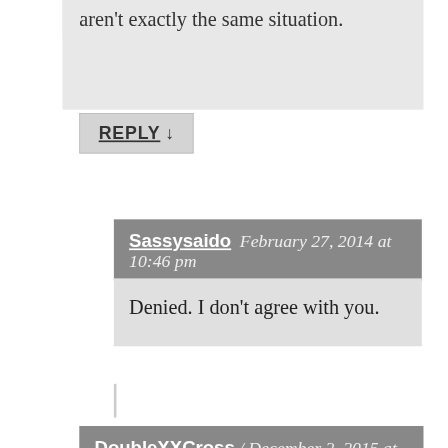aren't exactly the same situation.
REPLY ↓
Sassysaido  February 27, 2014 at 10:46 pm
Denied. I don't agree with you.
DoubleXXCross  December 2, 2015 at 10:59 am
English is the lingua franca. It'll survive even if it's being spoken with errors in Japan – it has a very broad spread and most countries, including